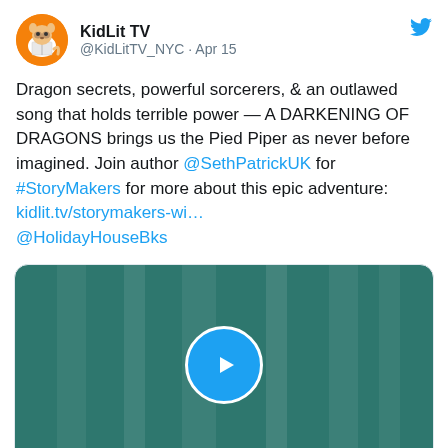[Figure (logo): KidLit TV orange circular avatar with raccoon mascot reading a book]
KidLit TV
@KidLitTV_NYC · Apr 15
Dragon secrets, powerful sorcerers, & an outlawed song that holds terrible power — A DARKENING OF DRAGONS brings us the Pied Piper as never before imagined. Join author @SethPatrickUK for #StoryMakers for more about this epic adventure: kidlit.tv/storymakers-wi… @HolidayHouseBks
[Figure (screenshot): Video thumbnail with teal/green striped background and blue play button circle in center]
5